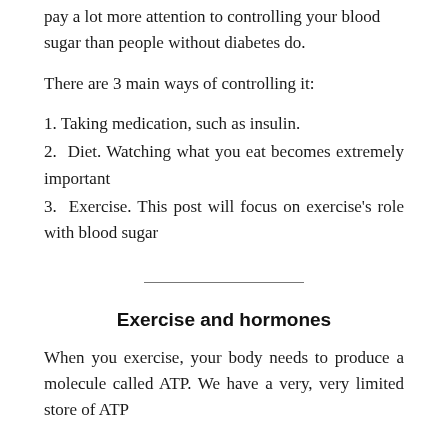pay a lot more attention to controlling your blood sugar than people without diabetes do.
There are 3 main ways of controlling it:
1. Taking medication, such as insulin.
2. Diet. Watching what you eat becomes extremely important
3. Exercise. This post will focus on exercise's role with blood sugar
Exercise and hormones
When you exercise, your body needs to produce a molecule called ATP. We have a very, very limited store of ATP